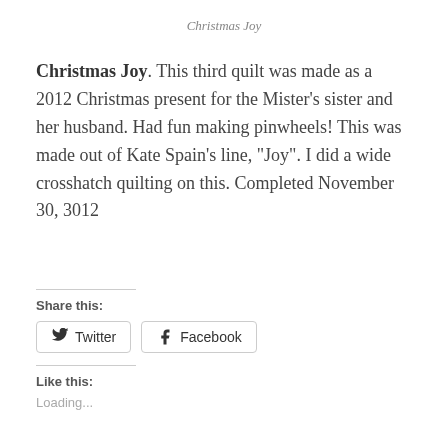Christmas Joy
Christmas Joy.  This third quilt was made as a 2012 Christmas present for the Mister’s sister and her husband.  Had fun making pinwheels!  This was made out of Kate Spain’s line, “Joy”. I did a wide crosshatch quilting on this. Completed November 30, 3012
Share this:
Twitter
Facebook
Like this:
Loading...